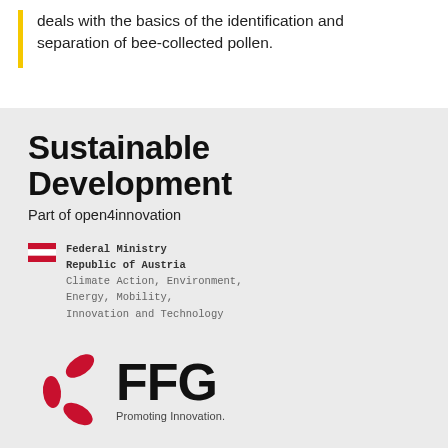deals with the basics of the identification and separation of bee-collected pollen.
Sustainable Development
Part of open4innovation
[Figure (logo): Austrian Federal Ministry logo with red-white-red flag icon and monospace text: Federal Ministry Republic of Austria, Climate Action, Environment, Energy, Mobility, Innovation and Technology]
[Figure (logo): FFG logo: red propeller/fan symbol on left, bold FFG letters and 'Promoting Innovation.' tagline on right]